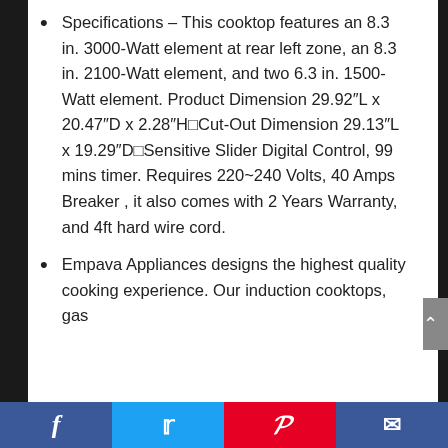Specifications – This cooktop features an 8.3 in. 3000-Watt element at rear left zone, an 8.3 in. 2100-Watt element, and two 6.3 in. 1500-Watt element. Product Dimension 29.92″L x 20.47″D x 2.28″H⊟Cut-Out Dimension 29.13″L x 19.29″D⊟Sensitive Slider Digital Control, 99 mins timer. Requires 220~240 Volts, 40 Amps Breaker , it also comes with 2 Years Warranty, and 4ft hard wire cord.
Empava Appliances designs the highest quality cooking experience. Our induction cooktops, gas
Facebook | Twitter | Pinterest | Email